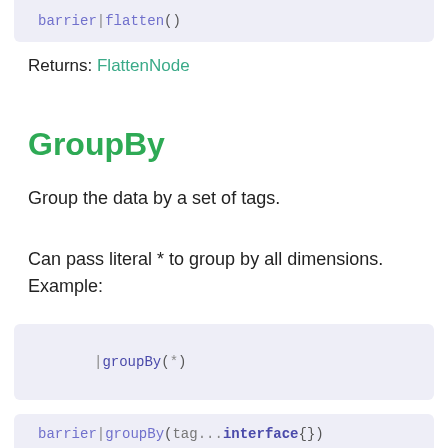[Figure (screenshot): Code block showing: barrier|flatten()]
Returns: FlattenNode
GroupBy
Group the data by a set of tags.
Can pass literal * to group by all dimensions. Example:
[Figure (screenshot): Code block showing: |groupBy(*)]
[Figure (screenshot): Code block showing: barrier|groupBy(tag ...interface{})]